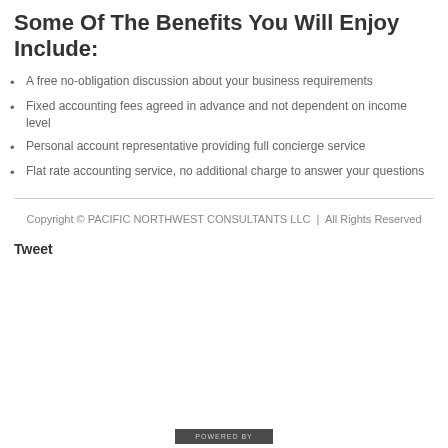Some Of The Benefits You Will Enjoy Include:
A free no-obligation discussion about your business requirements
Fixed accounting fees agreed in advance and not dependent on income level
Personal account representative providing full concierge service
Flat rate accounting service, no additional charge to answer your questions
Copyright © PACIFIC NORTHWEST CONSULTANTS LLC  |  All Rights Reserved
Tweet
[Figure (other): Powered by badge/button at bottom of page]